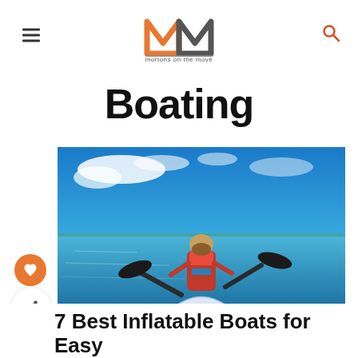mortons on the move
Boating
[Figure (photo): Woman paddling an inflatable kayak on a calm blue lake under a partly cloudy sky, viewed from behind, wearing a red life vest]
7 Best Inflatable Boats for Easy